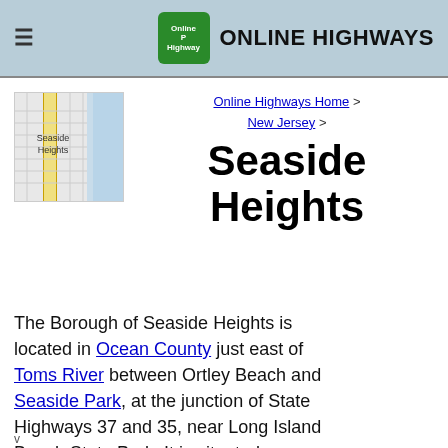≡   ONLINE HIGHWAYS
[Figure (map): Street map thumbnail showing Seaside Heights grid layout with label 'Seaside Heights']
Online Highways Home > New Jersey >
Seaside Heights
The Borough of Seaside Heights is located in Ocean County just east of Toms River between Ortley Beach and Seaside Park, at the junction of State Highways 37 and 35, near Long Island Beach State Park. It is situated on a